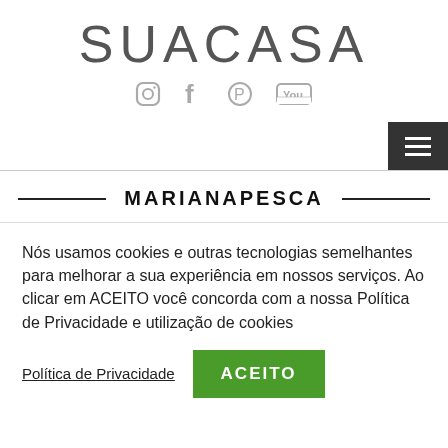SUACASA
[Figure (other): Social media icons: Instagram, Facebook, Pinterest, YouTube]
[Figure (other): Hamburger menu button (three horizontal lines on dark background)]
MARIANAPESCA
Nós usamos cookies e outras tecnologias semelhantes para melhorar a sua experiência em nossos serviços. Ao clicar em ACEITO você concorda com a nossa Política de Privacidade e utilização de cookies
Política de Privacidade
ACEITO